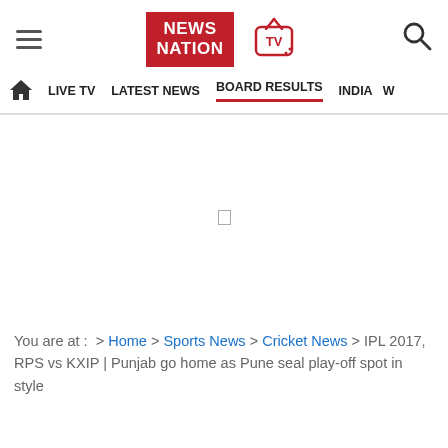NEWS NATION | TV | [hamburger menu] [search icon]
LIVE TV | LATEST NEWS | BOARD RESULTS | INDIA | W
You are at : > Home > Sports News > Cricket News > IPL 2017, RPS vs KXIP | Punjab go home as Pune seal play-off spot in style